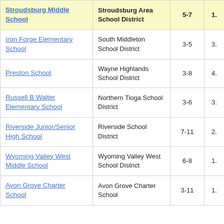| School | District | Grades |  |
| --- | --- | --- | --- |
| Stroudsburg Middle School | Stroudsburg Area School District | 5-7 | 1. |
| Iron Forge Elementary School | South Middleton School District | 3-5 | 3. |
| Preston School | Wayne Highlands School District | 3-8 | 4. |
| Russell B Walter Elementary School | Northern Tioga School District | 3-6 | 3. |
| Riverside Junior/Senior High School | Riverside School District | 7-11 | 2. |
| Wyoming Valley West Middle School | Wyoming Valley West School District | 6-8 | 1. |
| Avon Grove Charter School | Avon Grove Charter School | 3-11 | 1. |